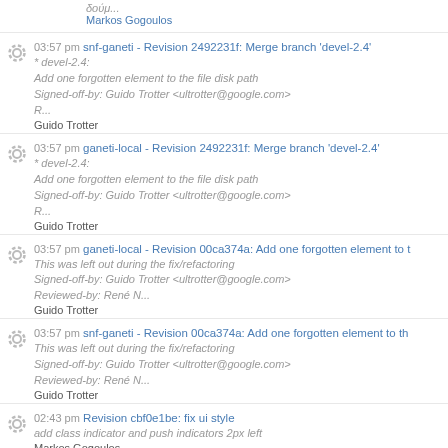δούμ...
Markos Gogoulos
03:57 pm snf-ganeti - Revision 2492231f: Merge branch 'devel-2.4'
* devel-2.4:
Add one forgotten element to the file disk path
Signed-off-by: Guido Trotter <ultrotter@google.com>
R...
Guido Trotter
03:57 pm ganeti-local - Revision 2492231f: Merge branch 'devel-2.4'
* devel-2.4:
Add one forgotten element to the file disk path
Signed-off-by: Guido Trotter <ultrotter@google.com>
R...
Guido Trotter
03:57 pm ganeti-local - Revision 00ca374a: Add one forgotten element to t
This was left out during the fix/refactoring
Signed-off-by: Guido Trotter <ultrotter@google.com>
Reviewed-by: René N...
Guido Trotter
03:57 pm snf-ganeti - Revision 00ca374a: Add one forgotten element to th
This was left out during the fix/refactoring
Signed-off-by: Guido Trotter <ultrotter@google.com>
Reviewed-by: René N...
Guido Trotter
02:43 pm Revision cbf0e1be: fix ui style
add class indicator and push indicators 2px left
Markos Gogoulos
02:36 pm snf-ganeti - Revision 08b000be: Merge branch 'devel-2.4'
* devel-2.4: